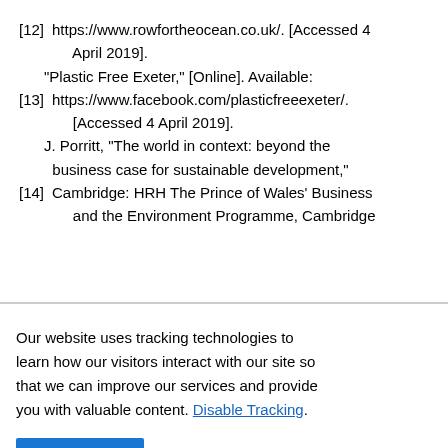[12] https://www.rowfortheocean.co.uk/. [Accessed 4 April 2019].
[13] "Plastic Free Exeter," [Online]. Available: https://www.facebook.com/plasticfreeexeter/. [Accessed 4 April 2019].
[14] J. Porritt, "The world in context: beyond the business case for sustainable development," Cambridge: HRH The Prince of Wales' Business and the Environment Programme, Cambridge
Our website uses tracking technologies to learn how our visitors interact with our site so that we can improve our services and provide you with valuable content. Disable Tracking.